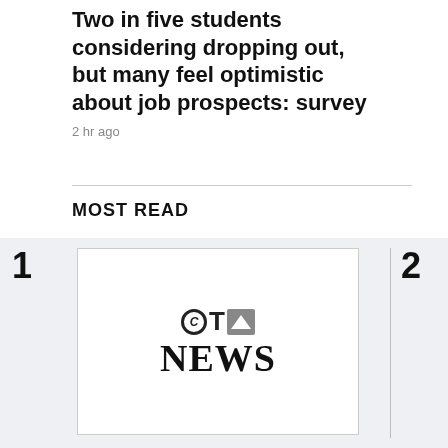Two in five students considering dropping out, but many feel optimistic about job prospects: survey
2 hr ago
MOST READ
1 — CTV News logo image — Avis claims woman drove rental car 36,000 km in 3 days
2 — [photo] — Meni... declo...